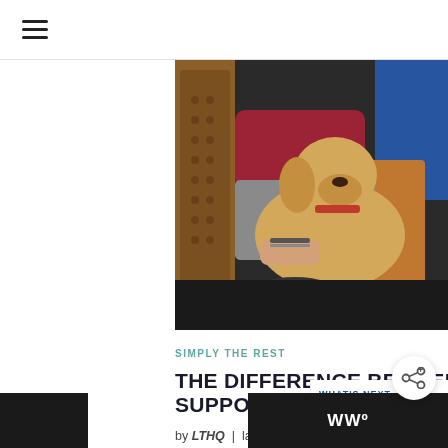☰ (hamburger menu icon)
[Figure (photo): A yellow Labrador retriever service dog sits between theater seats, resting its head on a person's lap. The person is wearing a red sweater and gray pants, seated in an orange/brown auditorium chair. Blue seats visible on the right.]
SIMPLY THE REST
THE DIFFERENCE BETWEEN EMOTIONAL SUPPORT VS SERVICE ANIMAL
by LTHQ | last updated June 23,
[Figure (other): Share button — circular white button with share icon (connected dots) and plus sign]
WHAT'S NEXT → How to Stop Resource...
[Figure (photo): Small thumbnail image for 'What's Next' sidebar — appears to show a dark scene]
WWº